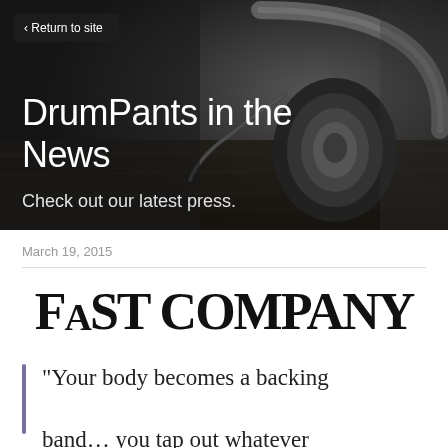[Figure (photo): Hero banner with grayscale photo of headphones on a dark wooden surface, overlaid with page title and subtitle text. A 'Return to site' navigation button appears in the top-left corner.]
March 19, 2015
[Figure (logo): Fast Company logo in large serif bold black text]
"Your body becomes a backing band… you tap out whatever